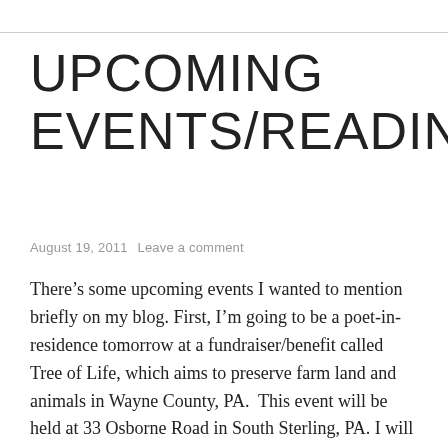UPCOMING EVENTS/READINGS
August 19, 2011   Leave a comment
There’s some upcoming events I wanted to mention briefly on my blog. First, I’m going to be a poet-in-residence tomorrow at a fundraiser/benefit called Tree of Life, which aims to preserve farm land and animals in Wayne County, PA.  This event will be held at 33 Osborne Road in South Sterling, PA. I will be hosting a